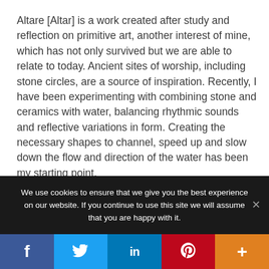Altare [Altar] is a work created after study and reflection on primitive art, another interest of mine, which has not only survived but we are able to relate to today. Ancient sites of worship, including stone circles, are a source of inspiration. Recently, I have been experimenting with combining stone and ceramics with water, balancing rhythmic sounds and reflective variations in form. Creating the necessary shapes to channel, speed up and slow down the flow and direction of the water has been my starting point.
We use cookies to ensure that we give you the best experience on our website. If you continue to use this site we will assume that you are happy with it.
Facebook | Twitter | LinkedIn | Pinterest | More